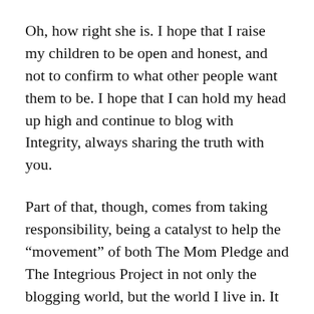Oh, how right she is. I hope that I raise my children to be open and honest, and not to confirm to what other people want them to be. I hope that I can hold my head up high and continue to blog with Integrity, always sharing the truth with you.
Part of that, though, comes from taking responsibility, being a catalyst to help the “movement” of both The Mom Pledge and The Integrious Project in not only the blogging world, but the world I live in. It means when I get into situations where people are not being honest, I need to let them know they have lost my trust and that I still plan on showing integrity to them. I need to be a model for